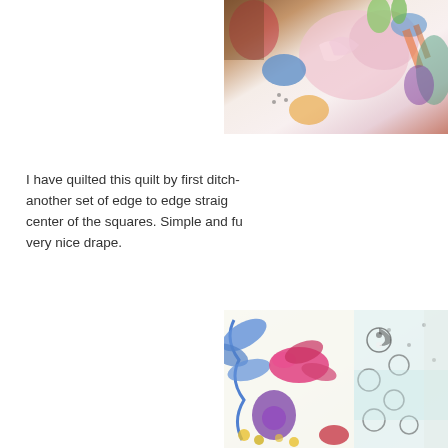[Figure (photo): Close-up photo of a colorful patchwork quilt with floral and animal prints in pink, blue, orange, green, and red on white fabric]
I have quilted this quilt by first ditch-another set of edge to edge straig center of the squares. Simple and fu very nice drape.
[Figure (photo): Close-up photo of a colorful patchwork quilt showing fabric pieces with a hummingbird print in pink and blue, floral patterns in yellow and orange, and yin-yang symbols on white/teal fabric]